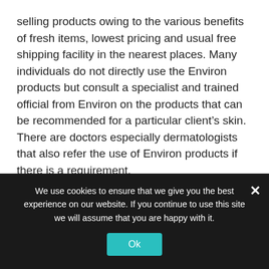selling products owing to the various benefits of fresh items, lowest pricing and usual free shipping facility in the nearest places. Many individuals do not directly use the Environ products but consult a specialist and trained official from Environ on the products that can be recommended for a particular client's skin. There are doctors especially dermatologists that also refer the use of Environ products if there is a requirement.
Environ skin products as potential beauty care items
Environ is the best retailer of skin developed products that are currently being used in all the major parts of the
We use cookies to ensure that we give you the best experience on our website. If you continue to use this site we will assume that you are happy with it.